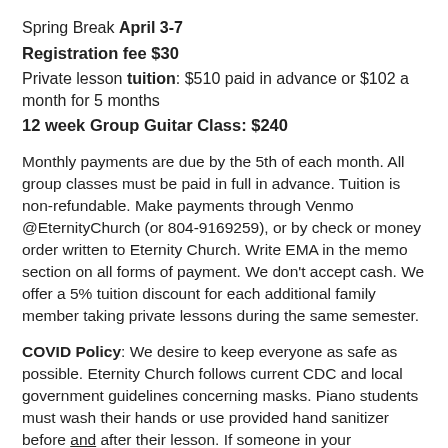Spring Break April 3-7
Registration fee $30
Private lesson tuition: $510 paid in advance or $102 a month for 5 months
12 week Group Guitar Class: $240
Monthly payments are due by the 5th of each month. All group classes must be paid in full in advance. Tuition is non-refundable. Make payments through Venmo @EternityChurch (or 804-9169259), or by check or money order written to Eternity Church. Write EMA in the memo section on all forms of payment. We don't accept cash. We offer a 5% tuition discount for each additional family member taking private lessons during the same semester.
COVID Policy: We desire to keep everyone as safe as possible. Eternity Church follows current CDC and local government guidelines concerning masks. Piano students must wash their hands or use provided hand sanitizer before and after their lesson. If someone in your immediate family has COVID or is experiencing symptoms, or a family member has been exposed to COVID, please contact your instructor ASAP and don't enter the building. Most of our instructors